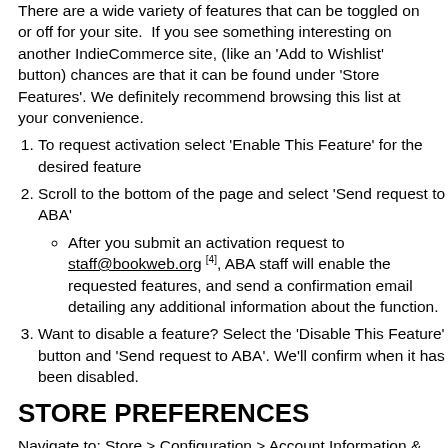There are a wide variety of features that can be toggled on or off for your site. If you see something interesting on another IndieCommerce site, (like an 'Add to Wishlist' button) chances are that it can be found under 'Store Features'. We definitely recommend browsing this list at your convenience.
To request activation select 'Enable This Feature' for the desired feature
Scroll to the bottom of the page and select 'Send request to ABA'
After you submit an activation request to staff@bookweb.org [4], ABA staff will enable the requested features, and send a confirmation email detailing any additional information about the function.
Want to disable a feature? Select the 'Disable This Feature' button and 'Send request to ABA'. We'll confirm when it has been disabled.
STORE PREFERENCES
Navigate to: Store > Configuration > Account Information & Preferences > Store Preferences